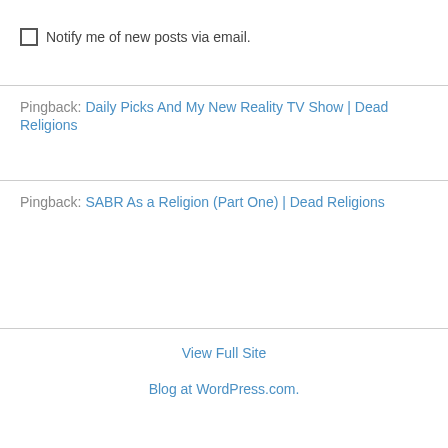Notify me of new posts via email.
Pingback: Daily Picks And My New Reality TV Show | Dead Religions
Pingback: SABR As a Religion (Part One) | Dead Religions
View Full Site
Blog at WordPress.com.